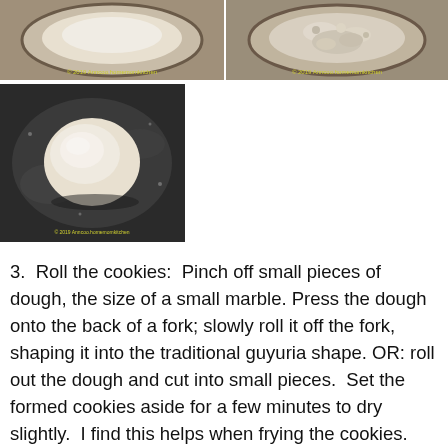[Figure (photo): Top-left photo: flour or dry ingredients in a bowl, overhead view]
[Figure (photo): Top-right photo: flour mixture with crumbly texture in a bowl, overhead view]
[Figure (photo): Bottom-left photo: a round ball of dough on a dark floured surface]
3.  Roll the cookies:  Pinch off small pieces of dough, the size of a small marble. Press the dough onto the back of a fork; slowly roll it off the fork, shaping it into the traditional guyuria shape. OR: roll out the dough and cut into small pieces.  Set the formed cookies aside for a few minutes to dry slightly.  I find this helps when frying the cookies.